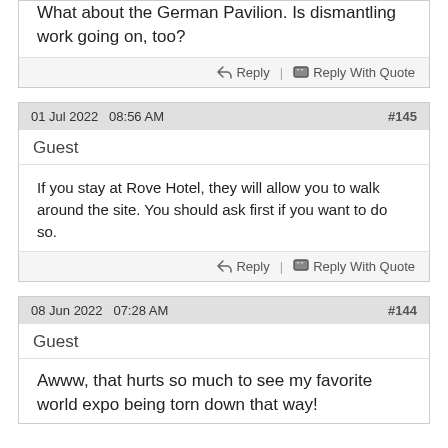What about the German Pavilion. Is dismantling work going on, too?
Reply | Reply With Quote
01 Jul 2022  08:56 AM  #145
Guest
If you stay at Rove Hotel, they will allow you to walk around the site. You should ask first if you want to do so.
Reply | Reply With Quote
08 Jun 2022  07:28 AM  #144
Guest
Awww, that hurts so much to see my favorite world expo being torn down that way!